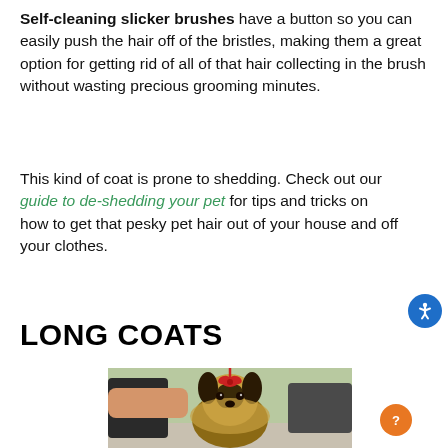Self-cleaning slicker brushes have a button so you can easily push the hair off of the bristles, making them a great option for getting rid of all of that hair collecting in the brush without wasting precious grooming minutes.
This kind of coat is prone to shedding. Check out our guide to de-shedding your pet for tips and tricks on how to get that pesky pet hair out of your house and off your clothes.
LONG COATS
[Figure (photo): A Yorkshire Terrier dog with a red bow in its hair being shown at a dog show, with a person's hand visible and other dogs in the background]